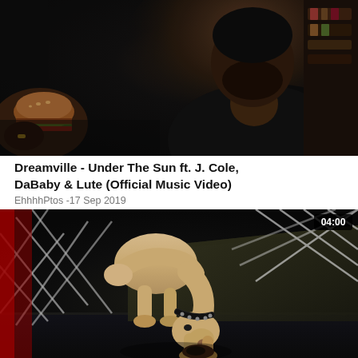[Figure (screenshot): Video thumbnail showing a man in a dark setting, partially visible from chest up, with food visible on the left side. Dark cinematic scene.]
Dreamville - Under The Sun ft. J. Cole, DaBaby & Lute (Official Music Video)
EhhhhPtos -17 Sep 2019
[Figure (screenshot): Video thumbnail showing a light-colored dog bending down to chew or pick up a toy/object on a dark floor. Background has a white lattice/diamond pattern fence. Duration badge shows 04:00.]